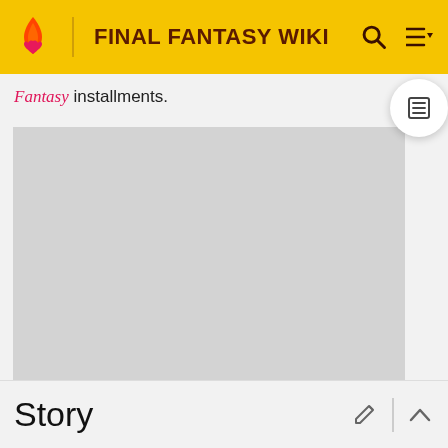FINAL FANTASY WIKI
Fantasy installments.
[Figure (other): Advertisement placeholder - grey rectangle]
ADVERTISEMENT
Story